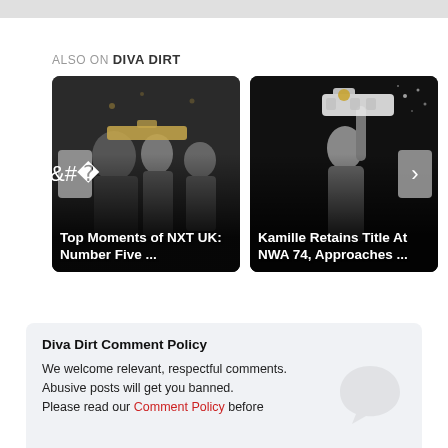ALSO ON DIVA DIRT
[Figure (photo): Two wrestling-related images side by side. Left: NXT UK Top Moments Number Five, showing a male and female wrestler with a championship belt. Right: Kamille Retains Title At NWA 74, showing a woman holding up a championship belt.]
Diva Dirt Comment Policy
We welcome relevant, respectful comments. Abusive posts will get you banned. Please read our Comment Policy before.